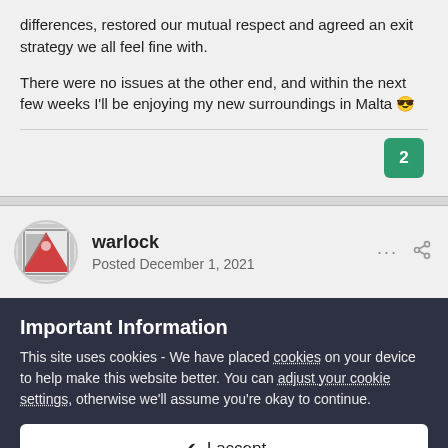differences, restored our mutual respect and agreed an exit strategy we all feel fine with.

There were no issues at the other end, and within the next few weeks I'll be enjoying my new surroundings in Malta 😎
[Figure (other): Green button with the number 2 representing likes/reactions count]
warlock
Posted December 1, 2021
Important Information
This site uses cookies - We have placed cookies on your device to help make this website better. You can adjust your cookie settings, otherwise we'll assume you're okay to continue.
✔  I accept